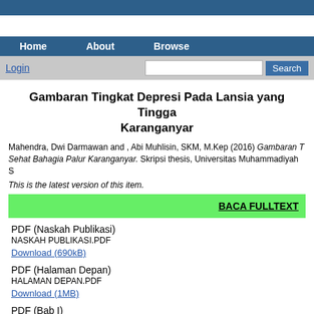Home   About   Browse
Login
Gambaran Tingkat Depresi Pada Lansia yang Tinggal di Panti Wredha Darma Bakti Kasih / Sehat Bahagia Palur Karanganyar
Mahendra, Dwi Darmawan and , Abi Muhlisin, SKM, M.Kep (2016) Gambaran Tingkat Depresi Pada Lansia yang Tinggal di Panti Wredha Darma Bakti Kasih / Sehat Bahagia Palur Karanganyar. Skripsi thesis, Universitas Muhammadiyah Surakarta.
This is the latest version of this item.
BACA FULLTEXT
PDF (Naskah Publikasi)
NASKAH PUBLIKASI.pdf
Download (690kB)
PDF (Halaman Depan)
HALAMAN DEPAN.pdf
Download (1MB)
PDF (Bab I)